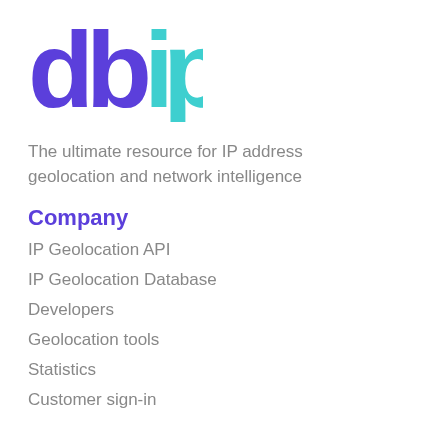[Figure (logo): db-ip logo with purple 'db' text and teal 'ip' text]
The ultimate resource for IP address geolocation and network intelligence
Company
IP Geolocation API
IP Geolocation Database
Developers
Geolocation tools
Statistics
Customer sign-in